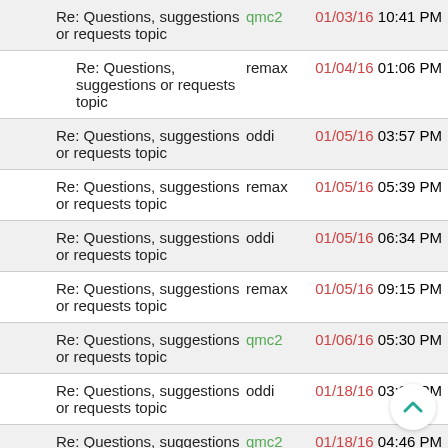Re: Questions, suggestions or requests topic | qmc2 | 01/03/16 10:41 PM
Re: Questions, suggestions or requests topic | remax | 01/04/16 01:06 PM
Re: Questions, suggestions or requests topic | oddi | 01/05/16 03:57 PM
Re: Questions, suggestions or requests topic | remax | 01/05/16 05:39 PM
Re: Questions, suggestions or requests topic | oddi | 01/05/16 06:34 PM
Re: Questions, suggestions or requests topic | remax | 01/05/16 09:15 PM
Re: Questions, suggestions or requests topic | qmc2 | 01/06/16 05:30 PM
Re: Questions, suggestions or requests topic | oddi | 01/18/16 03:20 PM
Re: Questions, suggestions or requests topic | qmc2 | 01/18/16 04:46 PM